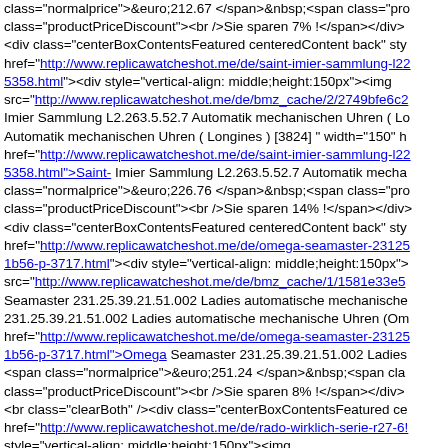class="normalprice">&euro;212.67 </span>&nbsp;<span class="pro class="productPriceDiscount"><br />Sie sparen 7% !</span></div> <div class="centerBoxContentsFeatured centeredContent back" sty href="http://www.replicawatcheshot.me/de/saint-imier-sammlung-l22 5358.html"><div style="vertical-align: middle;height:150px"><img src="http://www.replicawatcheshot.me/de/bmz_cache/2/2749bfe6c2 Imier Sammlung L2.263.5.52.7 Automatik mechanischen Uhren ( Lo Automatik mechanischen Uhren ( Longines ) [3824] " width="150" h href="http://www.replicawatcheshot.me/de/saint-imier-sammlung-l22 5358.html">Saint- Imier Sammlung L2.263.5.52.7 Automatik mecha class="normalprice">&euro;226.76 </span>&nbsp;<span class="pro class="productPriceDiscount"><br />Sie sparen 14% !</span></div> <div class="centerBoxContentsFeatured centeredContent back" sty href="http://www.replicawatcheshot.me/de/omega-seamaster-23125 1b56-p-3717.html"><div style="vertical-align: middle;height:150px"> src="http://www.replicawatcheshot.me/de/bmz_cache/1/1581e33e5 Seamaster 231.25.39.21.51.002 Ladies automatische mechanische 231.25.39.21.51.002 Ladies automatische mechanische Uhren (Om href="http://www.replicawatcheshot.me/de/omega-seamaster-23125 1b56-p-3717.html">Omega Seamaster 231.25.39.21.51.002 Ladies <span class="normalprice">&euro;251.24 </span>&nbsp;<span cla class="productPriceDiscount"><br />Sie sparen 8% !</span></div> <br class="clearBoth" /><div class="centerBoxContentsFeatured ce href="http://www.replicawatcheshot.me/de/rado-wirklich-serie-r27-6! style="vertical-align: middle;height:150px"><img src="http://www.replicawatcheshot.me/de/bmz_cache/7/7788d4bb6 wirklich Serie R27 653 17 2 neutral Quarz-Uhren ( Rado ) [4178]" tit Rado ) [4178] " width="150" height="150" /></div></a><br /><a hre 653-17-2-neutral-quarzuhren-rado-4178-p-5012.html">Rado wirklic <br /><span class="normalprice">&euro;241.37 </span>&nbsp;<spa class="productPriceDiscount"><br />Sie sparen 19% !</span></div> <div class="centerBoxContentsFeatured centeredContent back" sty href="http://www.replicawatcheshot.me/de/maurice-lacroix-pontos-po mechanische-uhren-mauricelacroix-07ba-p-1947.html"><div style= src="http://www.replicawatcheshot.me/de/bmz_cache/b/bad5d87a6 Lacroix Pontos PT6058 - Serie SS001-11E Männer automatische m Maurice Lacroix Pontos PT6058 - Serie SS001-11E Männer automa width="150" height="150" /> </div></a><br /><a href="http://www.